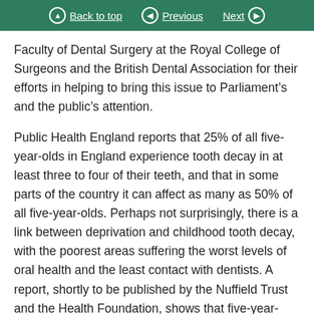Back to top | Previous | Next
Faculty of Dental Surgery at the Royal College of Surgeons and the British Dental Association for their efforts in helping to bring this issue to Parliament’s and the public’s attention.
Public Health England reports that 25% of all five-year-olds in England experience tooth decay in at least three to four of their teeth, and that in some parts of the country it can affect as many as 50% of all five-year-olds. Perhaps not surprisingly, there is a link between deprivation and childhood tooth decay, with the poorest areas suffering the worst levels of oral health and the least contact with dentists. A report, shortly to be published by the Nuffield Trust and the Health Foundation, shows that five-year-olds eligible for free school meals are